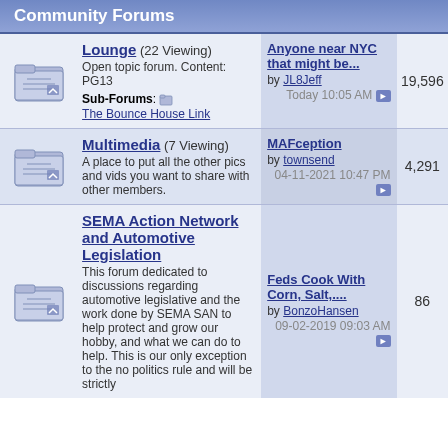Community Forums
| Icon | Forum | Last Post | Posts |
| --- | --- | --- | --- |
| [icon] | Lounge (22 Viewing) Open topic forum. Content: PG13 Sub-Forums: The Bounce House Link | Anyone near NYC that might be... by JL8Jeff Today 10:05 AM | 19,596 |
| [icon] | Multimedia (7 Viewing) A place to put all the other pics and vids you want to share with other members. | MAFception by townsend 04-11-2021 10:47 PM | 4,291 |
| [icon] | SEMA Action Network and Automotive Legislation This forum dedicated to discussions regarding automotive legislative and the work done by SEMA SAN to help protect and grow our hobby, and what we can do to help. This is our only exception to the no politics rule and will be strictly | Feds Cook With Corn, Salt,.... by BonzoHansen 09-02-2019 09:03 AM | 86 |